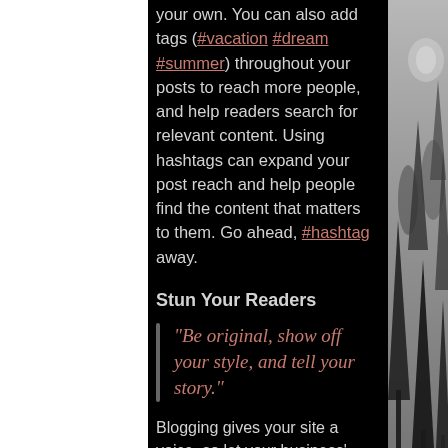your own. You can also add tags (#vacation #dream #summer) throughout your posts to reach more people, and help readers search for relevant content. Using hashtags can expand your post reach and help people find the content that matters to them. Go ahead, #hashtag away.
Stun Your Readers
“Be original, show off your style, and tell your story.”
Blogging gives your site a voice, so let your business’ personality shine through. Are you a creative agency? Go wild with